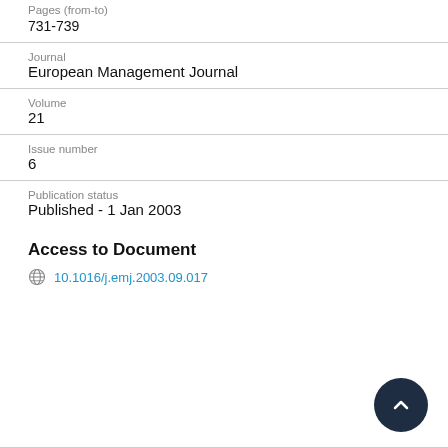Pages (from-to)
731-739
Journal
European Management Journal
Volume
21
Issue number
6
Publication status
Published - 1 Jan 2003
Access to Document
10.1016/j.emj.2003.09.017